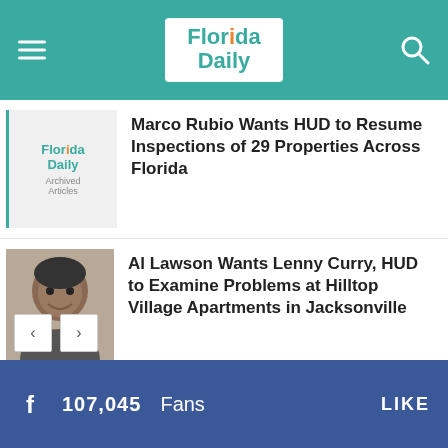Florida Daily
[Figure (logo): Florida Daily archived articles logo thumbnail]
Marco Rubio Wants HUD to Resume Inspections of 29 Properties Across Florida
[Figure (photo): Headshot photo of Al Lawson]
Al Lawson Wants Lenny Curry, HUD to Examine Problems at Hilltop Village Apartments in Jacksonville
Marco Rubio Pushes HUD to Improve Section 8 Properties in Jacksonville
107,045  Fans  LIKE